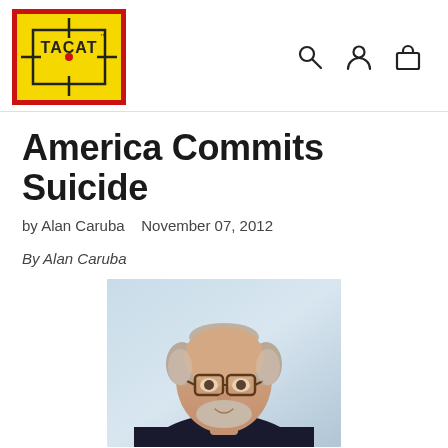TACAT — navigation header with logo, search, account, and cart icons
America Commits Suicide
by Alan Caruba   November 07, 2012
By Alan Caruba
[Figure (photo): Portrait photo of an older balding man with glasses, white/grey beard, wearing a dark jacket, against a light blue background]